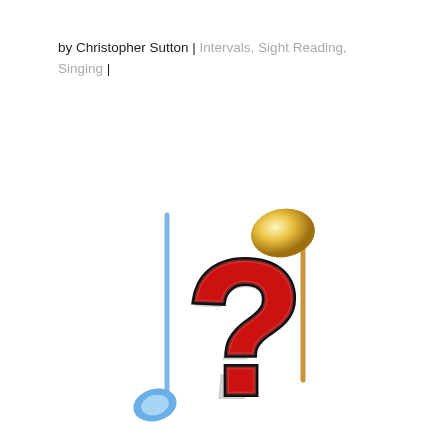by Christopher Sutton | Intervals, Sight Reading, Singing |
[Figure (illustration): Two stylized musical notes (one blue on the left, one gold on the right) with a large red question mark in the center, suggesting the concept of identifying or guessing musical intervals.]